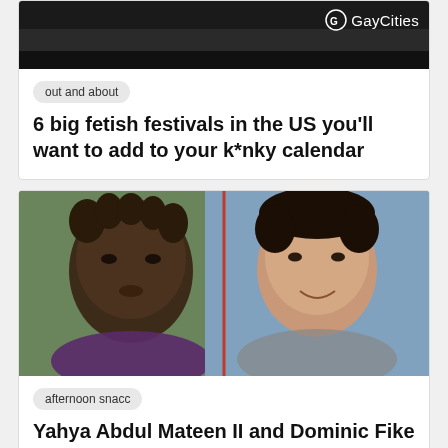[Figure (photo): GayCities logo on dark building background, top portion of article card]
out and about
6 big fetish festivals in the US you'll want to add to your k*nky calendar
[Figure (photo): Side-by-side photos of Yahya Abdul-Mateen II (left) and Dominic Fike (right), split by a red vertical line]
afternoon snacc
Yahya Abdul Mateen II and Dominic Fike are heating up